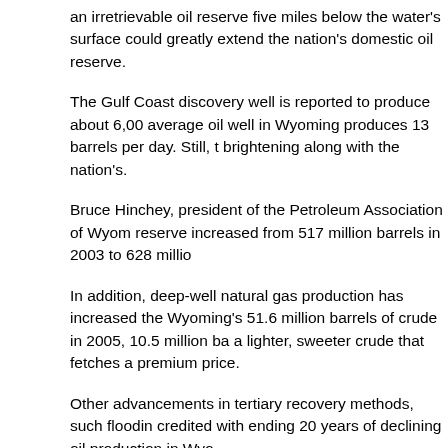an irretrievable oil reserve five miles below the water's surface could greatly extend the nation's domestic oil reserve.
The Gulf Coast discovery well is reported to produce about 6,000 barrels per day. The average oil well in Wyoming produces 13 barrels per day. Still, the state's outlook is brightening along with the nation's.
Bruce Hinchey, president of the Petroleum Association of Wyoming, noted that Wyoming's reserve increased from 517 million barrels in 2003 to 628 million...
In addition, deep-well natural gas production has increased the... Wyoming's 51.6 million barrels of crude in 2005, 10.5 million ba... a lighter, sweeter crude that fetches a premium price.
Other advancements in tertiary recovery methods, such flooding... credited with ending 20 years of declining oil production in Wyo...
“The technologies that are out there today can extend the life o... reserves out there,” Hinchey said.
He noted that when speaking of advanced technologies, one m...